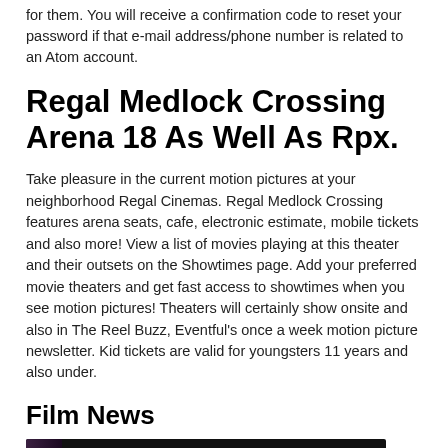for them. You will receive a confirmation code to reset your password if that e-mail address/phone number is related to an Atom account.
Regal Medlock Crossing Arena 18 As Well As Rpx.
Take pleasure in the current motion pictures at your neighborhood Regal Cinemas. Regal Medlock Crossing features arena seats, cafe, electronic estimate, mobile tickets and also more! View a list of movies playing at this theater and their outsets on the Showtimes page. Add your preferred movie theaters and get fast access to showtimes when you see motion pictures! Theaters will certainly show onsite and also in The Reel Buzz, Eventful's once a week motion picture newsletter. Kid tickets are valid for youngsters 11 years and also under.
Film News
[Figure (photo): Dark image with text overlay showing 'Find your favorite breed at www.PuppiesForSaleLocalBreeders.Com']